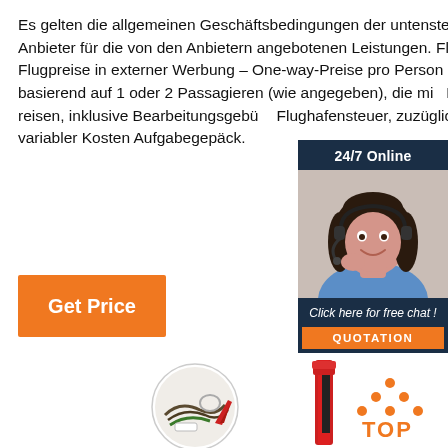Es gelten die allgemeinen Geschäftsbedingungen der untenstehenden Anbieter für die von den Anbietern angebotenen Leistungen. Flüge. Flugpreise in externer Werbung – One-way-Preise pro Person basierend auf 1 oder 2 Passagieren (wie angegeben), die mi... Buchung reisen, inklusive Bearbeitungsgebü... Flughafensteuer, zuzüglich variabler Kosten Aufgabegepäck.
[Figure (infographic): 24/7 Online customer support chat widget with a woman wearing a headset, 'Click here for free chat!' text, and an orange QUOTATION button]
[Figure (other): Orange 'Get Price' button]
[Figure (photo): Product images: circular saw chain tool set and a red tool, plus a 'TOP' logo with orange dots]
[Figure (logo): TOP logo with orange triangle dots above the text]